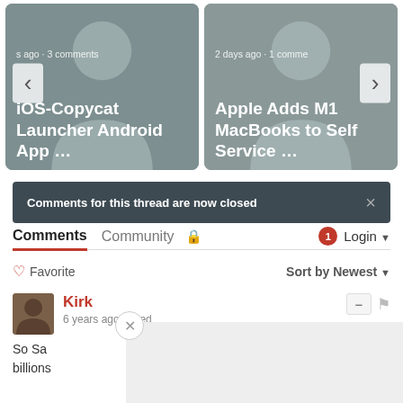[Figure (screenshot): Carousel card 1: iOS-Copycat Launcher Android App article with grey placeholder image, showing 's ago · 3 comments' and left navigation arrow]
[Figure (screenshot): Carousel card 2: Apple Adds M1 MacBooks to Self Service article with grey placeholder image, showing '2 days ago · 1 comme...' and right navigation arrow]
Comments for this thread are now closed
Comments   Community   🔒   1   Login ▼
♡ Favorite   Sort by Newest ▼
Kirk
6 years ago edited
So Sa  ...ing billions